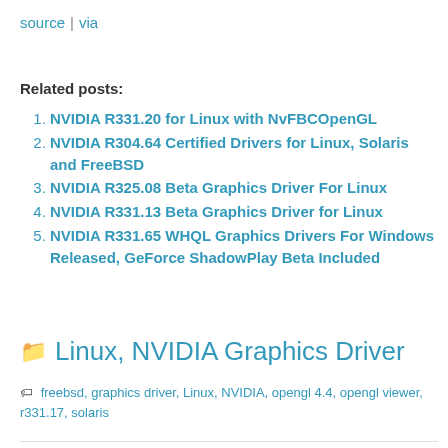source | via
Related posts:
NVIDIA R331.20 for Linux with NvFBCOpenGL
NVIDIA R304.64 Certified Drivers for Linux, Solaris and FreeBSD
NVIDIA R325.08 Beta Graphics Driver For Linux
NVIDIA R331.13 Beta Graphics Driver for Linux
NVIDIA R331.65 WHQL Graphics Drivers For Windows Released, GeForce ShadowPlay Beta Included
Linux, NVIDIA Graphics Driver
freebsd, graphics driver, Linux, NVIDIA, opengl 4.4, opengl viewer, r331.17, solaris